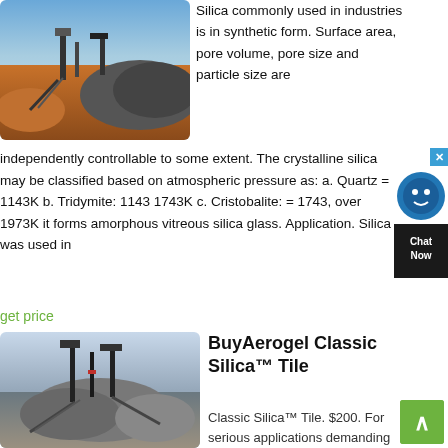[Figure (photo): Quarry/mining site with machinery, gravel piles, and red earth under blue sky]
Silica commonly used in industries is in synthetic form. Surface area, pore volume, pore size and particle size are independently controllable to some extent. The crystalline silica may be classified based on atmospheric pressure as: a. Quartz = 1143K b. Tridymite: 1143 1743K c. Cristobalite: = 1743, over 1973K it forms amorphous vitreous silica glass. Application. Silica was used in
get price
[Figure (photo): Mining/crushing plant with conveyor belts and gravel piles]
BuyAerogel Classic Silica™ Tile
Classic Silica™ Tile. $200. For serious applications demanding silica aerogel. Classic